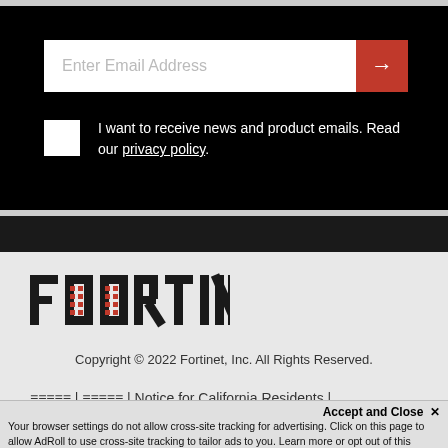Enter Email Address
I want to receive news and product emails. Read our privacy policy.
[Figure (logo): Fortinet logo in black on light gray background]
Copyright © 2022 Fortinet, Inc. All Rights Reserved.
≡≡≡≡ | ≡≡≡≡ | Notice for California Residents |
Do Not Sell My Personal Information | GDPR
Accept and Close ✕
Your browser settings do not allow cross-site tracking for advertising. Click on this page to allow AdRoll to use cross-site tracking to tailor ads to you. Learn more or opt out of this AdRoll tracking by clicking here. This message only appears once.